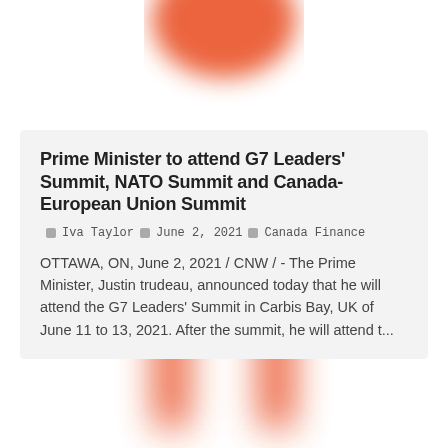[Figure (illustration): Partial orange blurred logo/blob shape at the top of the page, cropped]
Prime Minister to attend G7 Leaders' Summit, NATO Summit and Canada-European Union Summit
Iva Taylor  June 2, 2021  Canada Finance
OTTAWA, ON, June 2, 2021 / CNW / - The Prime Minister, Justin trudeau, announced today that he will attend the G7 Leaders' Summit in Carbis Bay, UK of June 11 to 13, 2021. After the summit, he will attend t...
[Figure (logo): Large orange blurred logo shape (letter n or arch shape) visible in the lower portion of the page]